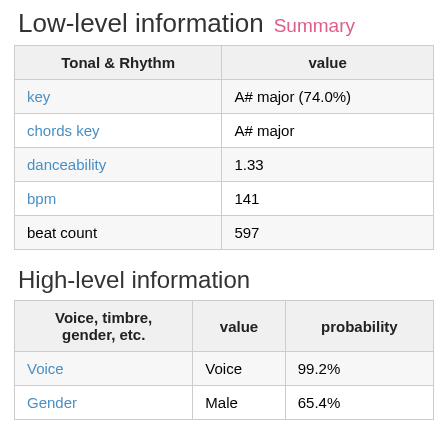Low-level information Summary
| Tonal & Rhythm | value |
| --- | --- |
| key | A# major (74.0%) |
| chords key | A# major |
| danceability | 1.33 |
| bpm | 141 |
| beat count | 597 |
High-level information
| Voice, timbre, gender, etc. | value | probability |
| --- | --- | --- |
| Voice | Voice | 99.2% |
| Gender | Male | 65.4% |